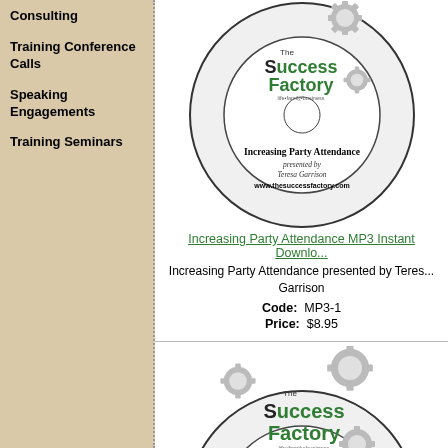Consulting
Training Conference Calls
Speaking Engagements
Training Seminars
[Figure (illustration): CD disc with The Success Factory logo and text: Increasing Party Attendance, presented by Teresa Garrison, www.thesuccessfactory.com]
Increasing Party Attendance MP3 Instant Download
Increasing Party Attendance presented by Teresa Garrison
Code: MP3-1
Price: $8.95
[Figure (illustration): Second CD disc with The Success Factory logo (partially visible)]